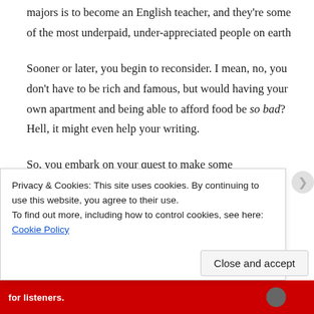majors is to become an English teacher, and they're some of the most underpaid, under-appreciated people on earth
Sooner or later, you begin to reconsider. I mean, no, you don't have to be rich and famous, but would having your own apartment and being able to afford food be so bad? Hell, it might even help your writing.
So, you embark on your quest to make some
Privacy & Cookies: This site uses cookies. By continuing to use this website, you agree to their use.
To find out more, including how to control cookies, see here: Cookie Policy
Close and accept
for listeners.